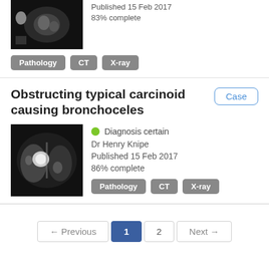[Figure (photo): CT scan image of abdominal/chest area, dark background with grayscale medical imaging]
Published 15 Feb 2017
83% complete
Pathology
CT
X-ray
Obstructing typical carcinoid causing bronchoceles
Case
[Figure (photo): CT scan of chest showing lung with carcinoid tumor and bronchoceles, dark background]
Diagnosis certain
Dr Henry Knipe
Published 15 Feb 2017
86% complete
Pathology
CT
X-ray
← Previous  1  2  Next →